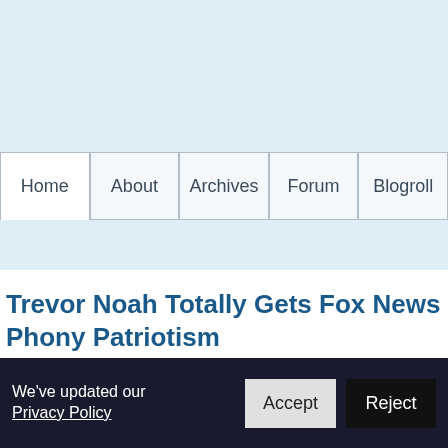Home | About | Archives | Forum | Blogroll
Trevor Noah Totally Gets Fox News Phony Patriotism
POSTED BY ELLEN · AUGUST 10, 2022 11:31 PM · 1 REACTION
We've updated our Privacy Policy  Accept  Reject